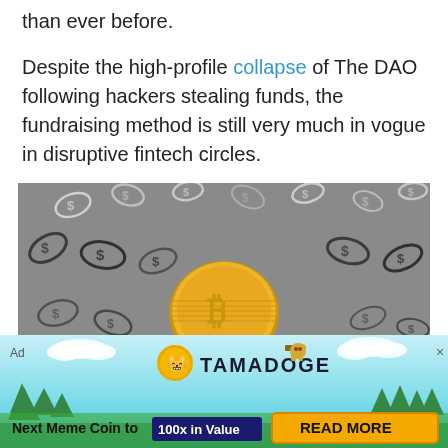than ever before.
Despite the high-profile collapse of The DAO following hackers stealing funds, the fundraising method is still very much in vogue in disruptive fintech circles.
[Figure (photo): A gold Bitcoin coin surrounded by floating dark metallic dollar sign chain links against a grey background.]
[Figure (infographic): Tamadoge advertisement banner with cyan/teal background, trees silhouette, clouds, Tamadoge logo with dog mascot, text 'Next Meme Coin to 100x in Value' with a dark navy label, and a gold 'READ MORE' button.]